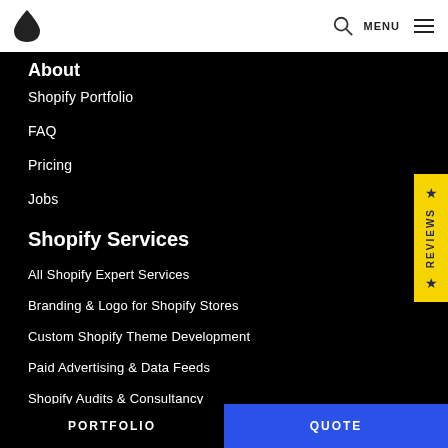Logo | Search | MENU
About
Shopify Portfolio
FAQ
Pricing
Jobs
Shopify Services
All Shopify Expert Services
Branding & Logo for Shopify Stores
Custom Shopify Theme Development
Paid Advertising & Data Feeds
Shopify Audits & Consultancy
PORTFOLIO | QUOTE